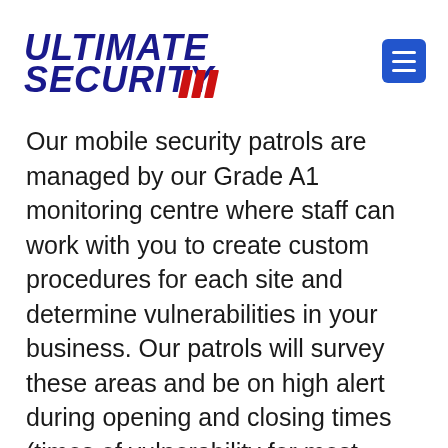[Figure (logo): Ultimate Security logo with bold dark blue italic text 'ULTIMATE' and 'SECURITY' with red diagonal stripes after SECURITY, and a blue hamburger menu button in top right corner]
Our mobile security patrols are managed by our Grade A1 monitoring centre where staff can work with you to create custom procedures for each site and determine vulnerabilities in your business. Our patrols will survey these areas and be on high alert during opening and closing times (times of vulnerability for most businesses).